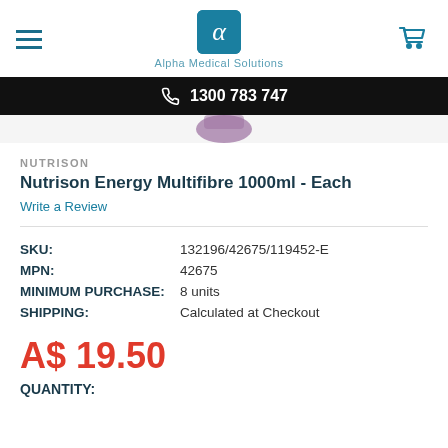Alpha Medical Solutions — header with hamburger menu, logo, and cart
1300 783 747
[Figure (photo): Partial product image of Nutrison Energy Multifibre 1000ml bottle, cropped at top]
NUTRISON
Nutrison Energy Multifibre 1000ml - Each
Write a Review
| SKU: | 132196/42675/119452-E |
| MPN: | 42675 |
| MINIMUM PURCHASE: | 8 units |
| SHIPPING: | Calculated at Checkout |
A$ 19.50
QUANTITY: